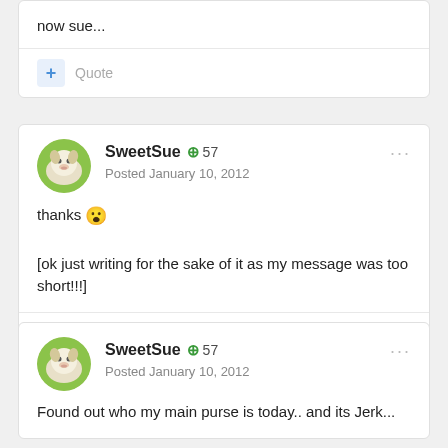now sue...
+ Quote
SweetSue + 57
Posted January 10, 2012
thanks 😮

[ok just writing for the sake of it as my message was too short!!!]
+ Quote
SweetSue + 57
Posted January 10, 2012
Found out who my main purse is today.. and its Jerk...